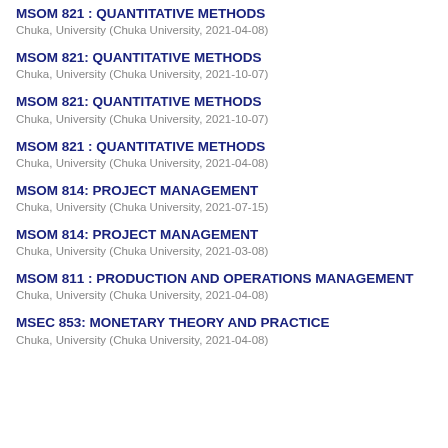MSOM 821 : QUANTITATIVE METHODS
Chuka, University (Chuka University, 2021-04-08)
MSOM 821: QUANTITATIVE METHODS
Chuka, University (Chuka University, 2021-10-07)
MSOM 821: QUANTITATIVE METHODS
Chuka, University (Chuka University, 2021-10-07)
MSOM 821 : QUANTITATIVE METHODS
Chuka, University (Chuka University, 2021-04-08)
MSOM 814: PROJECT MANAGEMENT
Chuka, University (Chuka University, 2021-07-15)
MSOM 814: PROJECT MANAGEMENT
Chuka, University (Chuka University, 2021-03-08)
MSOM 811 : PRODUCTION AND OPERATIONS MANAGEMENT
Chuka, University (Chuka University, 2021-04-08)
MSEC 853: MONETARY THEORY AND PRACTICE
Chuka, University (Chuka University, 2021-04-08)